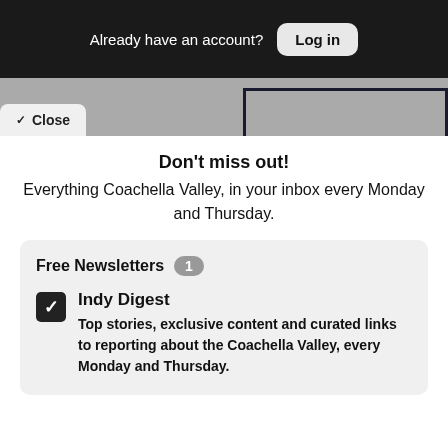Already have an account? Log in
Close
Don't miss out!
Everything Coachella Valley, in your inbox every Monday and Thursday.
Free Newsletters 1
Indy Digest — Top stories, exclusive content and curated links to reporting about the Coachella Valley, every Monday and Thursday.